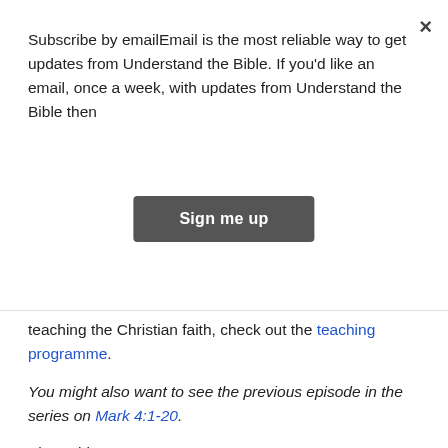Subscribe by emailEmail is the most reliable way to get updates from Understand the Bible. If you'd like an email, once a week, with updates from Understand the Bible then
[Figure (other): Sign me up button — dark grey rounded rectangle]
teaching the Christian faith, check out the teaching programme.
You might also want to see the previous episode in the series on Mark 4:1-20.
Share this:
[Figure (infographic): Social sharing icons: Facebook (blue), Twitter (light blue), Email (blue), WhatsApp (green), Evernote (green), More (blue)]
Learn to read the Bible
bible; mark